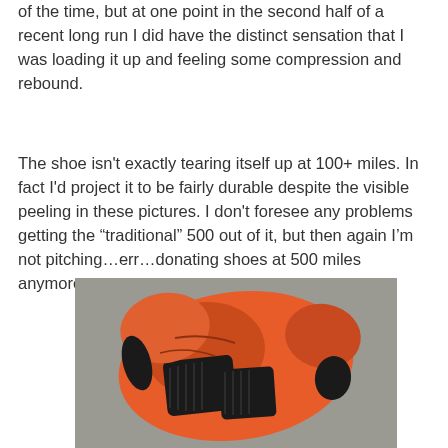of the time, but at one point in the second half of a recent long run I did have the distinct sensation that I was loading it up and feeling some compression and rebound.
The shoe isn't exactly tearing itself up at 100+ miles. In fact I'd project it to be fairly durable despite the visible peeling in these pictures. I don't foresee any problems getting the “traditional” 500 out of it, but then again I’m not pitching…err…donating shoes at 500 miles anymore.
[Figure (photo): Bottom sole of an orange running shoe with black rubber tread patterns, showing wear and peeling, photographed on a gray carpet surface.]